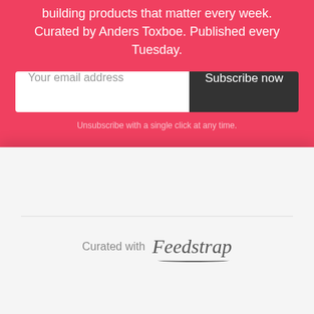building products that matter every week. Curated by Anders Toxboe. Published every Tuesday.
[Figure (screenshot): Email subscription form with a white input field labeled 'Your email address' and a dark 'Subscribe now' button]
Unsubscribe with a single click at any time.
[Figure (logo): Feedstrap logo with 'Curated with Feedstrap' text, Feedstrap in italic serif font with a curved underline]